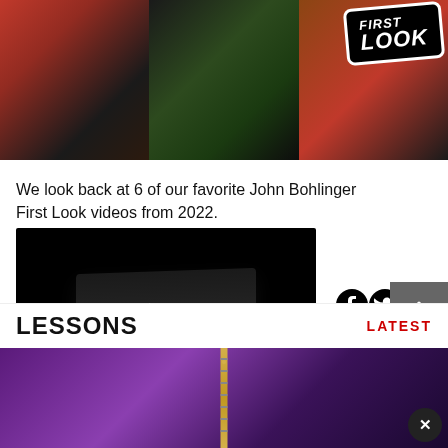[Figure (photo): Hero banner with three panels showing guitar players and a 'First Look' badge in top right corner]
We look back at 6 of our favorite John Bohlinger First Look videos from 2022.
[Figure (screenshot): Video thumbnail with dark background showing a guitar effect pedal and play button overlay]
[Figure (infographic): Social media sharing icons: Facebook, Twitter, Email]
LESSONS
LATEST
[Figure (photo): Purple/violet bokeh background with guitar neck visible and X close button]